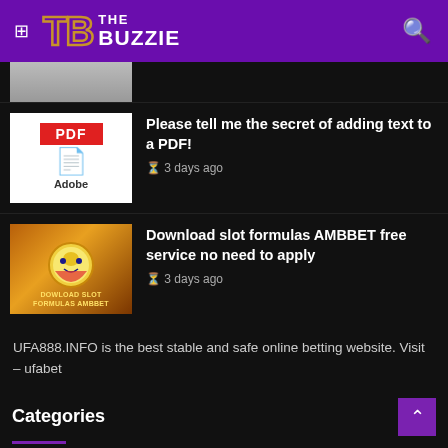TB THE BUZZIE
[Figure (screenshot): Partial article thumbnail at top of page]
[Figure (illustration): PDF Adobe icon thumbnail]
Please tell me the secret of adding text to a PDF!
3 days ago
[Figure (illustration): Download slot formulas AMBBET game thumbnail with sun face graphic]
Download slot formulas AMBBET free service no need to apply
3 days ago
UFA888.INFO is the best stable and safe online betting website. Visit – ufabet
Categories
> News  321